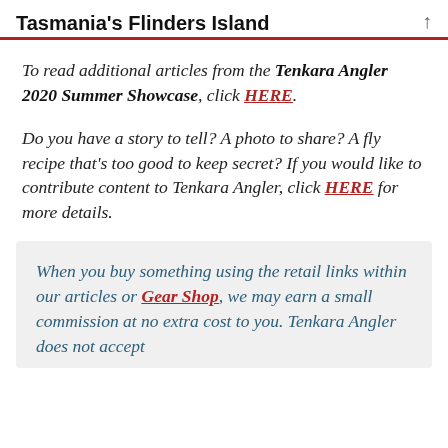Tasmania's Flinders Island
To read additional articles from the Tenkara Angler 2020 Summer Showcase, click HERE.
Do you have a story to tell? A photo to share? A fly recipe that's too good to keep secret? If you would like to contribute content to Tenkara Angler, click HERE for more details.
When you buy something using the retail links within our articles or Gear Shop, we may earn a small commission at no extra cost to you. Tenkara Angler does not accept